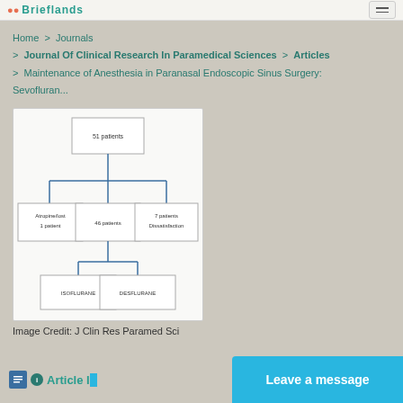Brieflands
Home > Journals > Journal Of Clinical Research In Paramedical Sciences > Articles > Maintenance of Anesthesia in Paranasal Endoscopic Sinus Surgery: Sevofluran...
[Figure (flowchart): Flowchart showing patient allocation: 51 patients at top, branching into three groups: Atropine/lost 1 patient, 46 patients, and 7 patients Dissatisfaction. The 46 patients group further branches into two: ISOFLURANE and DESFLURANE.]
Image Credit: J Clin Res Paramed Sci
Article Information